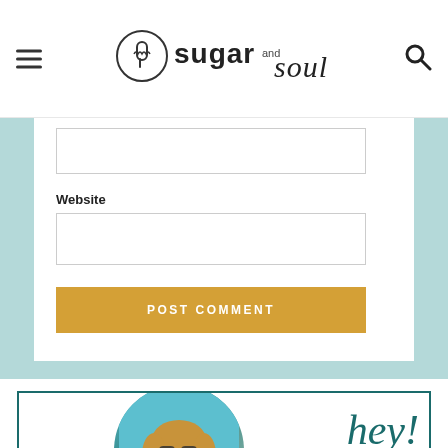Sugar and Soul
Website
[Figure (screenshot): Website text input field (empty form field)]
[Figure (screenshot): POST COMMENT button in golden/amber color]
[Figure (photo): Circular photo of a woman with sunglasses smiling, with a 'hey!' script text to the right, inside a teal-bordered card]